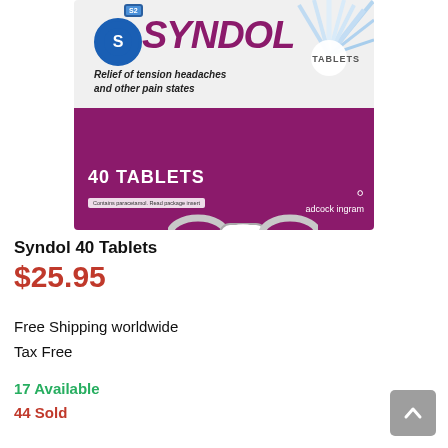[Figure (photo): Syndol 40 Tablets product box — white top with Syndol branding in purple italic, blue circle logo with S emblem, 'Relief of tension headaches and other pain states' tagline, blue ray burst graphic, chain-link and pill image; purple bottom section with '40 TABLETS', 'Contains paracetamol. Read package insert', and adcock ingram logo.]
Syndol 40 Tablets
$25.95
Free Shipping worldwide
Tax Free
17 Available
44 Sold